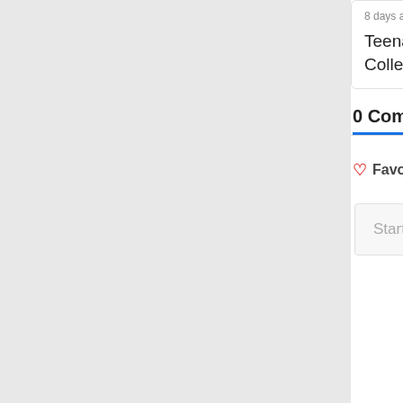8 days ago · 1 comment
Teenage Mutant Ninja Turtles: The Cowabunga Collection brings together all 13 …
7 months
Shadow triumphs corpora
0 Comments
WorthPlaying
🔒 Disqu
♡ Favorite
Tweet
Share
Start the discussion…
LOG IN WITH
OR SIGN
Name
Be th